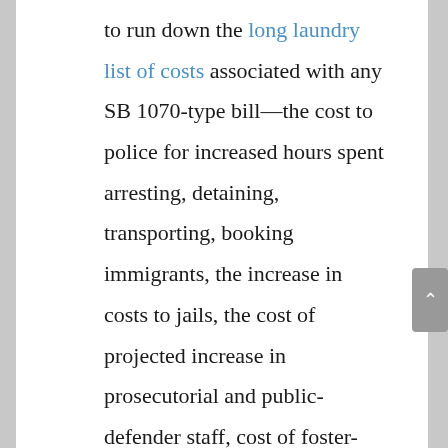to run down the long laundry list of costs associated with any SB 1070-type bill—the cost to police for increased hours spent arresting, detaining, transporting, booking immigrants, the increase in costs to jails, the cost of projected increase in prosecutorial and public-defender staff, cost of foster-care for children of detained immigrants, and the cost to the state economy in revenue loss and legal fees—and decide how much they're willing to